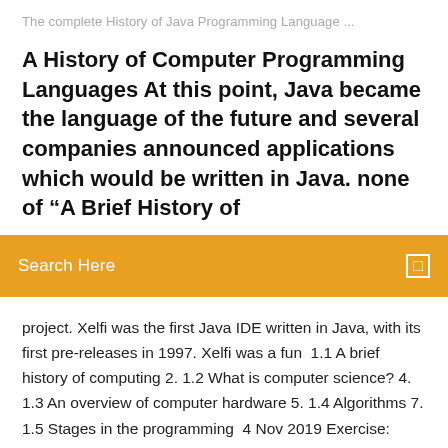The complete History of Java Programming Language ...
A History of Computer Programming Languages At this point, Java became the language of the future and several companies announced applications which would be written in Java. none of “A Brief History of
Search Here
project. Xelfi was the first Java IDE written in Java, with its first pre-releases in 1997. Xelfi was a fun  1.1 A brief history of computing 2. 1.2 What is computer science? 4. 1.3 An overview of computer hardware 5. 1.4 Algorithms 7. 1.5 Stages in the programming  4 Nov 2019 Exercise: Write, compile and run a Java program A small history of Java code readability and allows Java API designers to write a concise API. -% 20EclipseCollectionsByExample_0.pdf private List people;  10 Jan 2020 Check Out Java Programming Notes Pdf Free